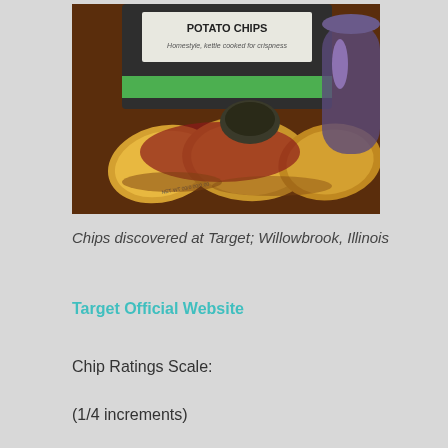[Figure (photo): Photo of a bag of potato chips labeled 'POTATO CHIPS - Homestyle, kettle cooked for crispness' with chips scattered on a wooden surface]
Chips discovered at Target; Willowbrook, Illinois
Target Official Website
Chip Ratings Scale:
(1/4 increments)